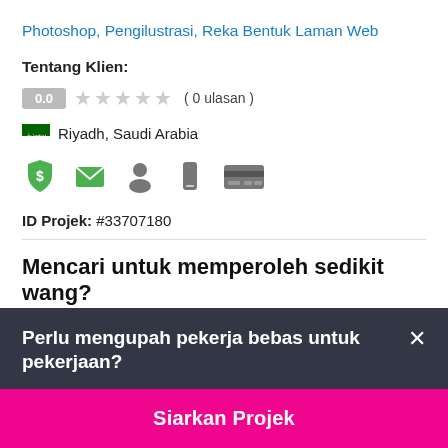Photoshop, Pengilustrasi, Reka Bentuk Laman Web
Tentang Klien:
0.0  ( 0 ulasan )
Riyadh, Saudi Arabia
[Figure (illustration): Row of client verification icons: green shield with dollar sign, green envelope, grey person silhouette, grey phone, grey credit card]
ID Projek: #33707180
Mencari untuk memperoleh sedikit wang?
Perlu mengupah pekerja bebas untuk pekerjaan?
Siarkan Projek